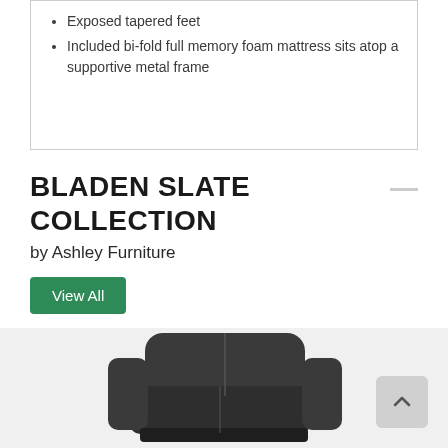Exposed tapered feet
Included bi-fold full memory foam mattress sits atop a supportive metal frame
BLADEN SLATE COLLECTION
by Ashley Furniture
View All
[Figure (photo): Dark slate colored recliner chair from the Bladen Slate Collection by Ashley Furniture]